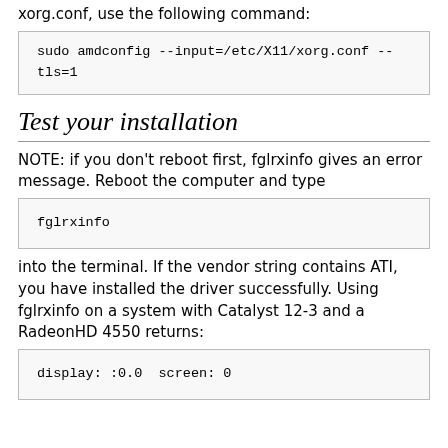xorg.conf, use the following command:
Test your installation
NOTE: if you don't reboot first, fglrxinfo gives an error message. Reboot the computer and type
into the terminal. If the vendor string contains ATI, you have installed the driver successfully. Using fglrxinfo on a system with Catalyst 12-3 and a RadeonHD 4550 returns: